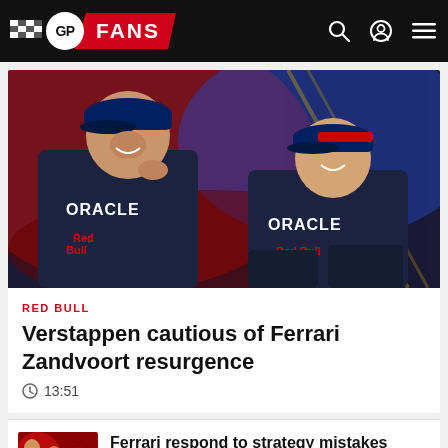GP FANS
[Figure (photo): Two Red Bull F1 drivers (Sergio Perez and Max Verstappen) wearing Oracle Red Bull Racing suits, sitting and smiling at what appears to be a press conference, with a blurred colorful background.]
RED BULL
Verstappen cautious of Ferrari Zandvoort resurgence
13:51
[Figure (photo): Thumbnail image showing Ferrari team members in red, partially visible.]
Ferrari respond to strategy mistakes perception
FERRARI • 08:10